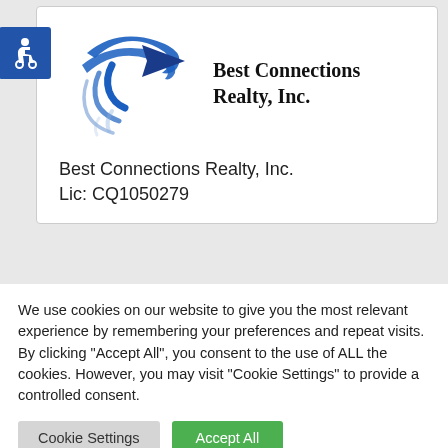[Figure (logo): Best Connections Realty, Inc. logo — blue swirl/arrow graphic with company name in serif font]
Best Connections Realty, Inc.
Lic: CQ1050279
We use cookies on our website to give you the most relevant experience by remembering your preferences and repeat visits. By clicking "Accept All", you consent to the use of ALL the cookies. However, you may visit "Cookie Settings" to provide a controlled consent.
Cookie Settings
Accept All